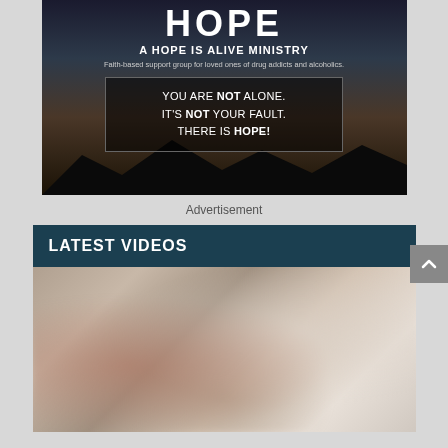[Figure (illustration): Advertisement for 'A Hope Is Alive Ministry' — faith-based support group for loved ones of drug addicts and alcoholics. Dark mountainous background with text: 'YOU ARE NOT ALONE. IT'S NOT YOUR FAULT. THERE IS HOPE!' in a bordered box.]
Advertisement
LATEST VIDEOS
[Figure (photo): Blurred video thumbnail showing people, likely holding hands or at a table, with warm muted tones.]